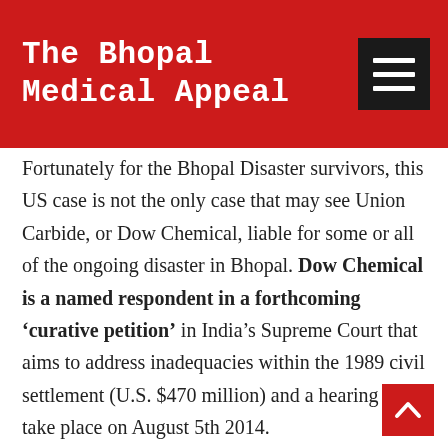The Bhopal Medical Appeal
Fortunately for the Bhopal Disaster survivors, this US case is not the only case that may see Union Carbide, or Dow Chemical, liable for some or all of the ongoing disaster in Bhopal. Dow Chemical is a named respondent in a forthcoming ‘curative petition’ in India’s Supreme Court that aims to address inadequacies within the 1989 civil settlement (U.S. $470 million) and a hearing will take place on August 5th 2014.
The Indian government is seeking an additional amount of up to $1.24billion, based on higher figures for the dead and injured, but the Bhopal